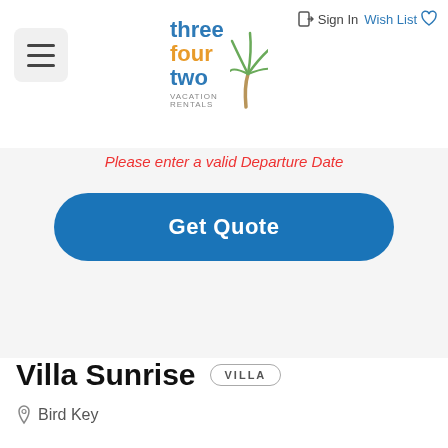three four two VACATION RENTALS | Sign In | Wish List
Please enter a valid Departure Date
Get Quote
Villa Sunrise VILLA
Bird Key
Overview
Availability
Location